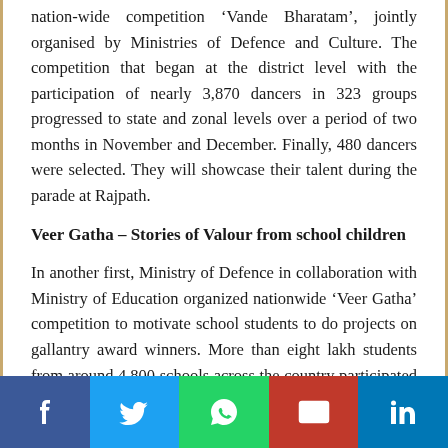nation-wide competition ‘Vande Bharatam’, jointly organised by Ministries of Defence and Culture. The competition that began at the district level with the participation of nearly 3,870 dancers in 323 groups progressed to state and zonal levels over a period of two months in November and December. Finally, 480 dancers were selected. They will showcase their talent during the parade at Rajpath.
Veer Gatha – Stories of Valour from school children
In another first, Ministry of Defence in collaboration with Ministry of Education organized nationwide ‘Veer Gatha’ competition to motivate school students to do projects on gallantry award winners. More than eight lakh students from around 4,800 schools across the country participated and shared their inspirational stories through essays, poems, drawings and multimedia presentations. After several rounds of evaluation, 25 were selected and declared